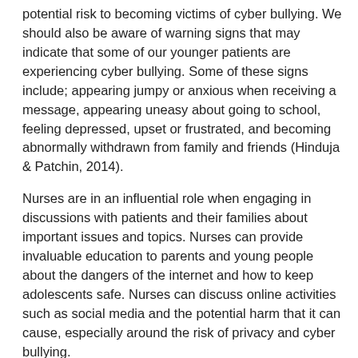potential risk to becoming victims of cyber bullying. We should also be aware of warning signs that may indicate that some of our younger patients are experiencing cyber bullying. Some of these signs include; appearing jumpy or anxious when receiving a message, appearing uneasy about going to school, feeling depressed, upset or frustrated, and becoming abnormally withdrawn from family and friends (Hinduja & Patchin, 2014).
Nurses are in an influential role when engaging in discussions with patients and their families about important issues and topics. Nurses can provide invaluable education to parents and young people about the dangers of the internet and how to keep adolescents safe. Nurses can discuss online activities such as social media and the potential harm that it can cause, especially around the risk of privacy and cyber bullying.
Recommending strategies for online safety is also fundamental information for parents to help prevent their children being caught in and exposed to the dangers of the internet. Possible strategies for parents to try include supervising of online activities and having open discussions with their children about the potential dangers of using social networks, such as the 'friends' they are matched with or talking to online. Furthermore, decreasing or removing isolated screen time by moving the computer to a public place, and not